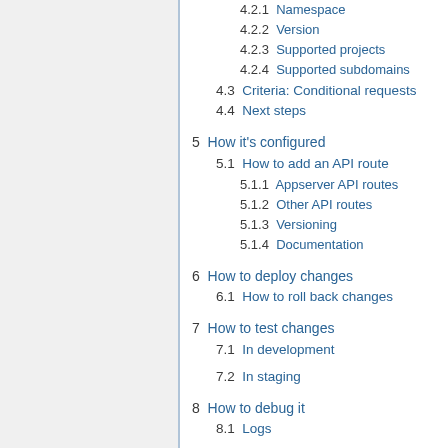4.2.1 Namespace
4.2.2 Version
4.2.3 Supported projects
4.2.4 Supported subdomains
4.3 Criteria: Conditional requests
4.4 Next steps
5 How it's configured
5.1 How to add an API route
5.1.1 Appserver API routes
5.1.2 Other API routes
5.1.3 Versioning
5.1.4 Documentation
6 How to deploy changes
6.1 How to roll back changes
7 How to test changes
7.1 In development
7.2 In staging
8 How to debug it
8.1 Logs
8.2 WikimediaDebug